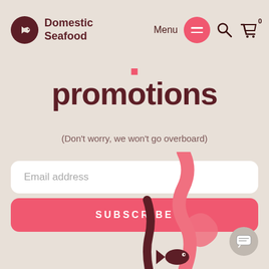Domestic Seafood
promotions
(Don't worry, we won't go overboard)
Email address
SUBSCRIBE
[Figure (illustration): Decorative seafood/seaweed illustration with fish and coral shapes in dark red and salmon pink colors]